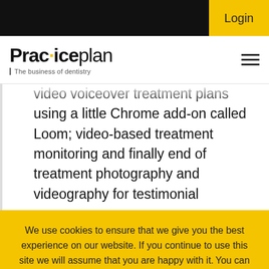Login
[Figure (logo): Practiceplan logo with tagline 'The business of dentistry']
video voiceover treatment plans using a little Chrome add-on called Loom; video-based treatment monitoring and finally end of treatment photography and videography for testimonial purposes.
We use cookies to ensure that we give you the best experience on our website. If you continue to use this site we will assume that you are happy with it. You can find out more by reading our cookie policy.
Okay
Cookie Policy